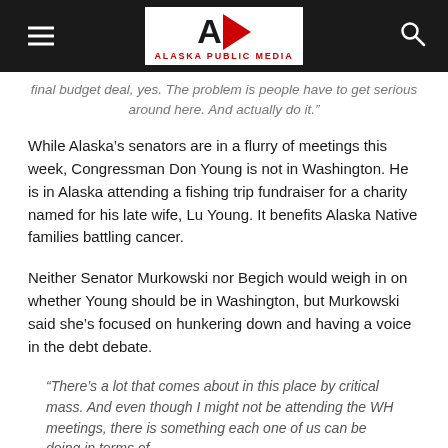Alaska Public Media
final budget deal, yes. The problem is people have to get serious around here. And actually do it.”
While Alaska’s senators are in a flurry of meetings this week, Congressman Don Young is not in Washington. He is in Alaska attending a fishing trip fundraiser for a charity named for his late wife, Lu Young. It benefits Alaska Native families battling cancer.
Neither Senator Murkowski nor Begich would weigh in on whether Young should be in Washington, but Murkowski said she’s focused on hunkering down and having a voice in the debt debate.
“There’s a lot that comes about in this place by critical mass. And even though I might not be attending the WH meetings, there is something each one of us can be doing in terms of